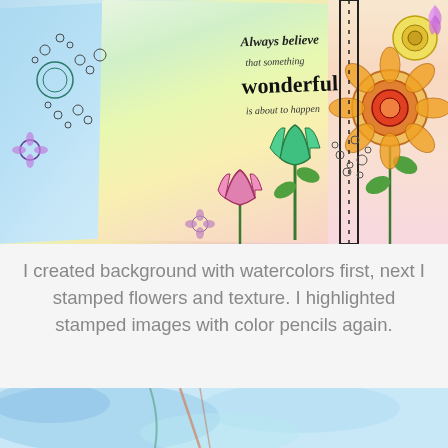[Figure (photo): Art journal spread showing two open pages decorated with watercolor backgrounds in blue, green, yellow, and pink. Features stamped floral illustrations with color pencil highlights — tulips, daisies, and decorative flowers with leaves. Text stamped on the page reads 'Always believe that something wonderful is about to happen'. A decorative dotted border strip runs along the right side.]
I created background with watercolors first, next I stamped flowers and texture. I highlighted stamped images with color pencils again.
[Figure (photo): Partial view of another art journal page with blue and teal watercolor background, partially visible at the bottom of the page.]